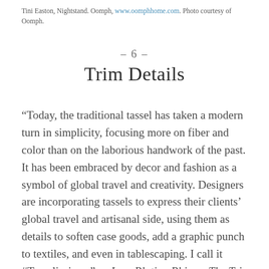Tini Easton, Nightstand. Oomph, www.oomphhome.com. Photo courtesy of Oomph.
– 6 –
Trim Details
“Today, the traditional tassel has taken a modern turn in simplicity, focusing more on fiber and color than on the laborious handwork of the past. It has been embraced by decor and fashion as a symbol of global travel and creativity. Designers are incorporating tassels to express their clients’ global travel and artisanal side, using them as details to soften case goods, add a graphic punch to textiles, and even in tablescaping. I call it #Tasseliscious.” —Jana Platina Phipps, The Trim